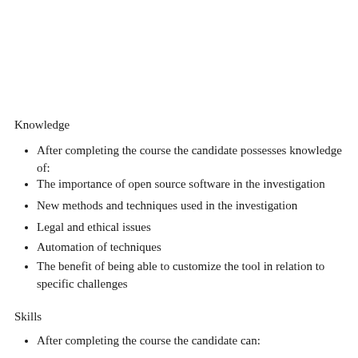Knowledge
After completing the course the candidate possesses knowledge of:
The importance of open source software in the investigation
New methods and techniques used in the investigation
Legal and ethical issues
Automation of techniques
The benefit of being able to customize the tool in relation to specific challenges
Skills
After completing the course the candidate can: